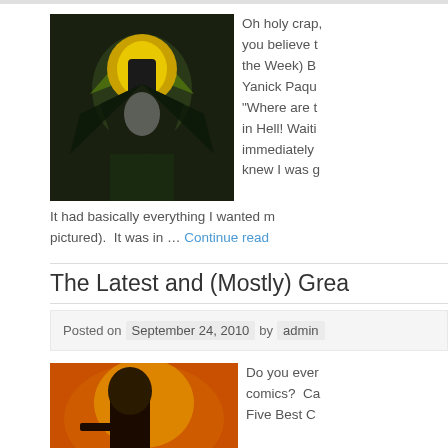[Figure (illustration): Batman comic book art showing Batman with wings spread against a dark background with yellow/gold lighting]
Oh holy crap, you believe (the Week) B Yanick Paqu“Where are in Hell! Waiti immediately knew I was g
It had basically everything I wanted m pictured). It was in … Continue read
The Latest and (Mostly) Grea
Posted on September 24, 2010 by admin
[Figure (illustration): Comic book art showing a character with a gun against an orange/fire background]
Do you ever comics? Ca Five Best C